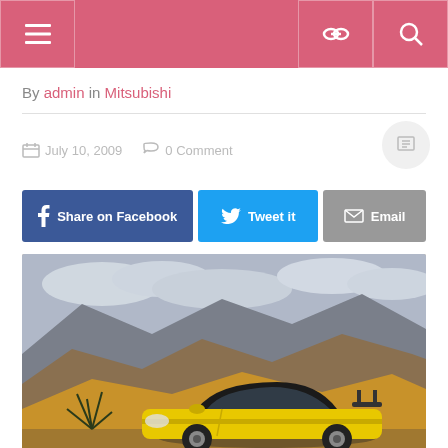Navigation bar with menu, link, and search icons
By admin in Mitsubishi
July 10, 2009   0 Comment
Share on Facebook
Tweet it
Email
[Figure (photo): Yellow Mitsubishi Eclipse sports car parked in front of rocky desert mountains under a cloudy sky]